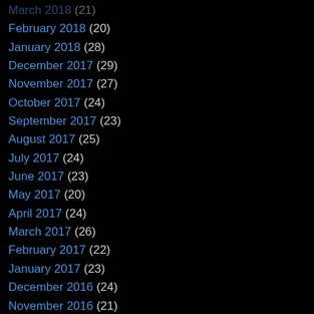March 2018 (21)
February 2018 (20)
January 2018 (28)
December 2017 (29)
November 2017 (27)
October 2017 (24)
September 2017 (23)
August 2017 (25)
July 2017 (24)
June 2017 (23)
May 2017 (20)
April 2017 (24)
March 2017 (26)
February 2017 (22)
January 2017 (23)
December 2016 (24)
November 2016 (21)
October 2016 (25)
September 2016 (25)
August 2016 (26)